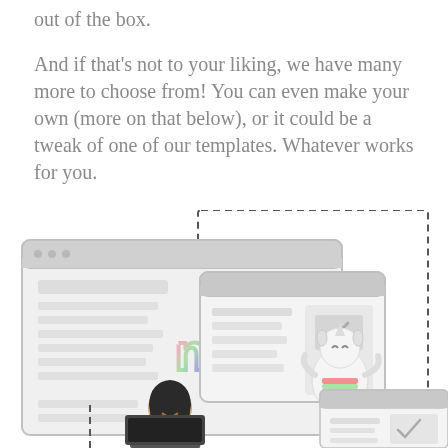out of the box.
And if that's not to your liking, we have many more to choose from! You can even make your own (more on that below), or it could be a tweak of one of our templates. Whatever works for you.
[Figure (illustration): Two overlapping browser/app window mockups in gray, showing a layout with text placeholders and a rainbow 'n' logo icon. A cartoon unicorn-costumed character stands to the right of the back window. A dashed rectangle border overlaps the top-right area. A second partial scene at the bottom shows a woman with dark bob hair sitting at a laptop, with another browser window mockup beside her also showing the rainbow 'n' logo.]